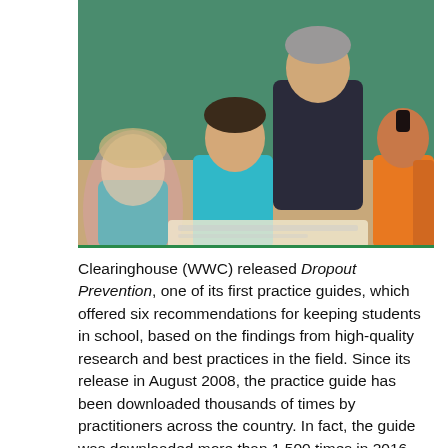Works
[Figure (photo): A teacher leaning over to assist a group of students sitting at desks in a classroom. Students are smiling and looking at books or papers. One student wears a teal shirt, another wears an orange shirt.]
Clearinghouse (WWC) released Dropout Prevention, one of its first practice guides, which offered six recommendations for keeping students in school, based on the findings from high-quality research and best practices in the field. Since its release in August 2008, the practice guide has been downloaded thousands of times by practitioners across the country. In fact, the guide was downloaded more than 1,500 times in 2016, alone.
However, over the past decade, the research and knowledge base has grown in the area of dropout